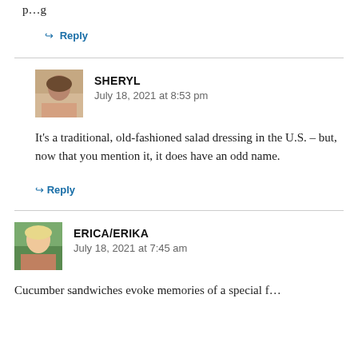p…g
↳ Reply
SHERYL
July 18, 2021 at 8:53 pm
It's a traditional, old-fashioned salad dressing in the U.S. – but, now that you mention it, it does have an odd name.
↳ Reply
ERICA/ERIKA
July 18, 2021 at 7:45 am
Cucumber sandwiches evoke memories of a special f…